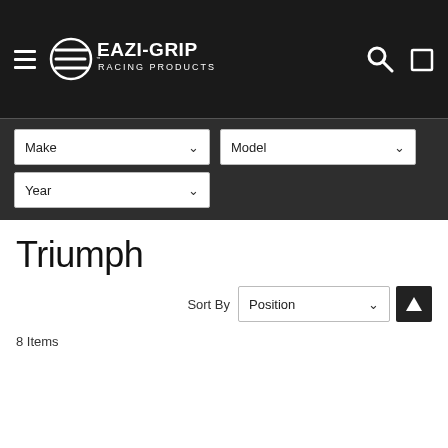EAZI-GRIP Racing Products
Triumph
Sort By  Position
8 Items